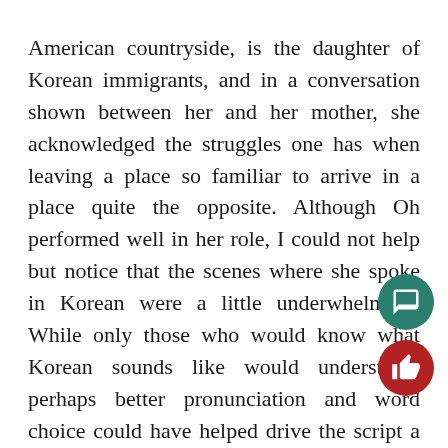American countryside, is the daughter of Korean immigrants, and in a conversation shown between her and her mother, she acknowledged the struggles one has when leaving a place so familiar to arrive in a place quite the opposite. Although Oh performed well in her role, I could not help but notice that the scenes where she spoke in Korean were a little underwhelming. While only those who would know what Korean sounds like would understand, perhaps better pronunciation and word choice could have helped drive the script a bit further and become more rooted in the intergenerational story Shim was trying to convey.
By the end of the movie, Shim was able to give a s[tory about the things that one might fear in a mot]her-daughter relationship, and used the universality of generational trauma to tie the film together, ending the film on a lighter note than what many horror films...